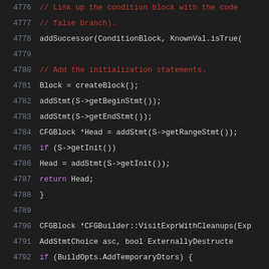[Figure (screenshot): Source code listing in a dark-themed IDE/viewer showing C++ code lines 4776-4797. Line numbers are shown in gray on the left. Comments are in red/orange, types in teal, variables in light blue, keywords in purple, and plain code in white/light gray.]